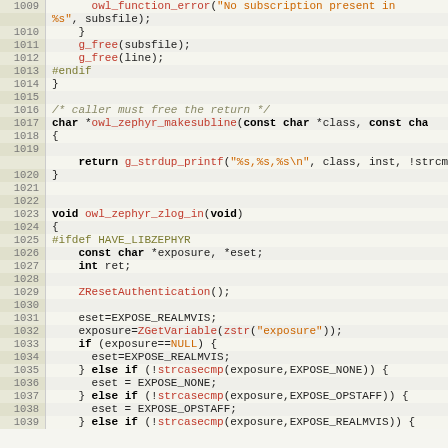[Figure (screenshot): Source code listing in C, lines 1009-1039, showing owl_zephyr functions with syntax highlighting. Line numbers on left, code on right with keywords in bold, strings in orange, preprocessor directives in olive, function names in red.]